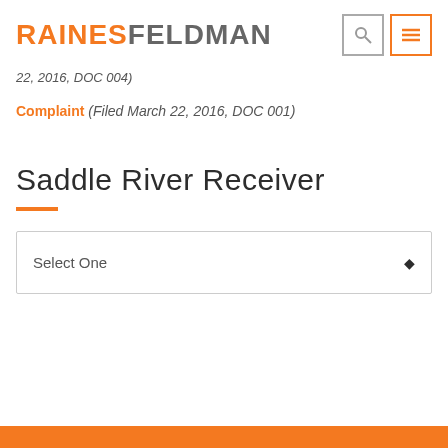RAINESFELDMAN
22, 2016, DOC 004)
Complaint (Filed March 22, 2016, DOC 001)
Saddle River Receiver
Select One